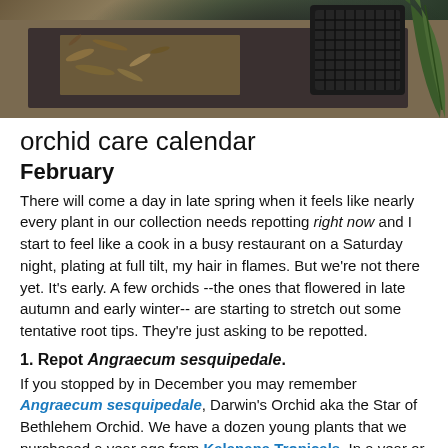[Figure (photo): Close-up photo of orchid repotting materials including bark/moss medium on a tray and a black mesh basket, with green plant leaves visible]
orchid care calendar
February
There will come a day in late spring when it feels like nearly every plant in our collection needs repotting right now and I start to feel like a cook in a busy restaurant on a Saturday night, plating at full tilt, my hair in flames. But we're not there yet. It's early. A few orchids --the ones that flowered in late autumn and early winter-- are starting to stretch out some tentative root tips. They're just asking to be repotted.
1. Repot Angraecum sesquipedale. If you stopped by in December you may remember Angraecum sesquipedale, Darwin's Orchid aka the Star of Bethlehem Orchid. We have a dozen young plants that we purchased a year ago from Kalapana Tropicals. In a year or so we will install them in the Madagascar bed in the Orchid Display House. Right now we are repotting them. Pull up a chair if you would like to watch